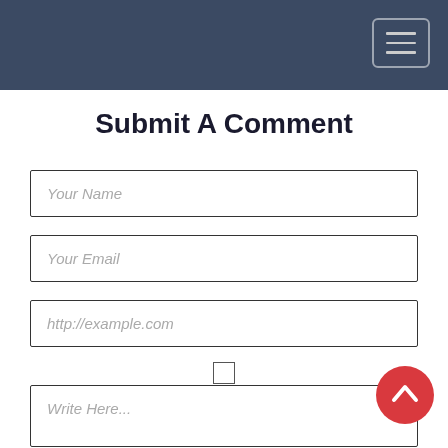Navigation header with hamburger menu
Submit A Comment
Your Name
Your Email
http://example.com
Checkbox
Write Here...